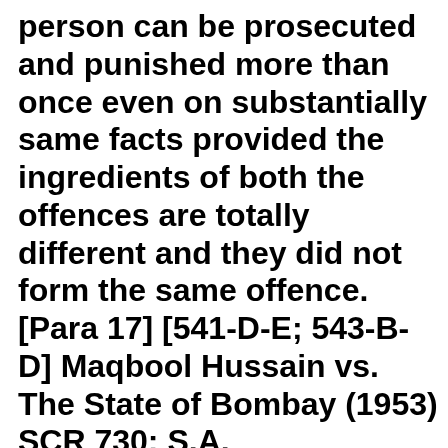person can be prosecuted and punished more than once even on substantially same facts provided the ingredients of both the offences are totally different and they did not form the same offence. [Para 17] [541-D-E; 543-B-D] Maqbool Hussain vs. The State of Bombay (1953) SCR 730; S.A. Venkataraman vs. The Union of India & Anr. (1954) SCR 1150; Leo Roy Frey...